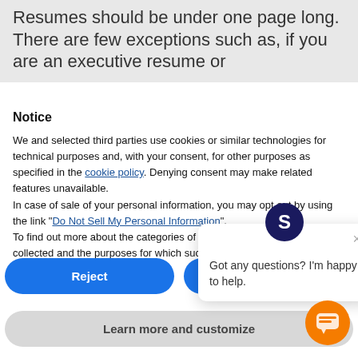Resumes should be under one page long. There are few exceptions such as, if you are an executive resume or
Notice
We and selected third parties use cookies or similar technologies for technical purposes and, with your consent, for other purposes as specified in the cookie policy. Denying consent may make related features unavailable.
In case of sale of your personal information, you may opt out by using the link "Do Not Sell My Personal Information".
To find out more about the categories of personal information collected and the purposes for which such information will be used, please refer to our pr…
[Figure (screenshot): Chat popup with avatar showing letter S, close button (x), and text 'Got any questions? I'm happy to help.']
Reject
Accept
Learn more and customize
[Figure (illustration): Orange circular chat bubble button in bottom right corner]